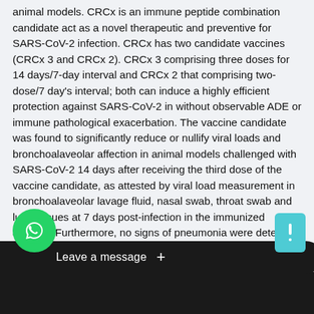animal models. CRCx is an immune peptide combination candidate act as a novel therapeutic and preventive for SARS-CoV-2 infection. CRCx has two candidate vaccines (CRCx 3 and CRCx 2). CRCx 3 comprising three doses for 14 days/7-day interval and CRCx 2 that comprising two-dose/7 day's interval; both can induce a highly efficient protection against SARS-CoV-2 in without observable ADE or immune pathological exacerbation. The vaccine candidate was found to significantly reduce or nullify viral loads and bronchoalaveolar affection in animal models challenged with SARS-CoV-2 14 days after receiving the third dose of the vaccine candidate, as attested by viral load measurement in bronchoalaveolar lavage fluid, nasal swab, throat swab and lung tissues at 7 days post-infection in the immunized animals. Furthermore, no signs of pneumonia were detected in histo pathological sections of the vaccinated and subsequently virus-challenged animals. In the absence of an effective antiviral drug against SARS-CoV-2, vaccines with good potential to effectively establish immunity...
[Figure (other): WhatsApp chat widget with green phone icon, 'Leave a message' dark bar with plus button, teal square button on right, and dark bottom bar covering text]